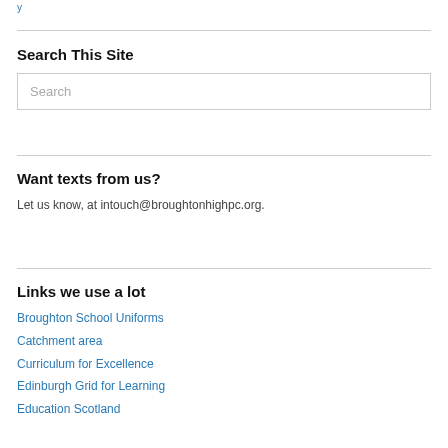y
Search This Site
Search
Want texts from us?
Let us know, at intouch@broughtonhighpc.org.
Links we use a lot
Broughton School Uniforms
Catchment area
Curriculum for Excellence
Edinburgh Grid for Learning
Education Scotland